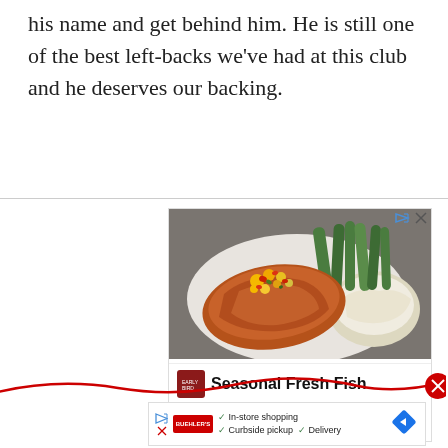his name and get behind him. He is still one of the best left-backs we've had at this club and he deserves our backing.
[Figure (photo): Advertisement showing a plate of salmon with mango salsa, green beans, and mashed potatoes. Below the food photo: logo, title 'Seasonal Fresh Fish', Bonefish Grill, Ashburn 3-9PM, with a navigation button.]
[Figure (infographic): Bottom advertisement banner with play icon, red logo, checkmarks for In-store shopping, Curbside pickup, Delivery, and a blue diamond navigation arrow.]